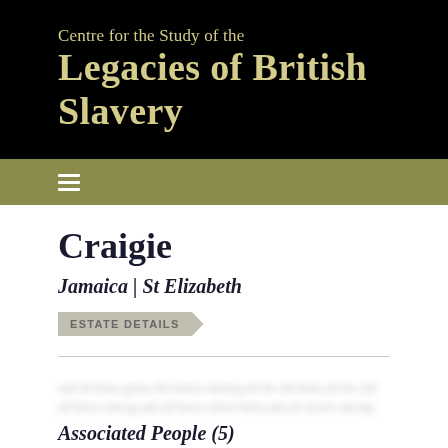Centre for the Study of the Legacies of British Slavery
Craigie
Jamaica | St Elizabeth
ESTATE DETAILS
Associated People (5)